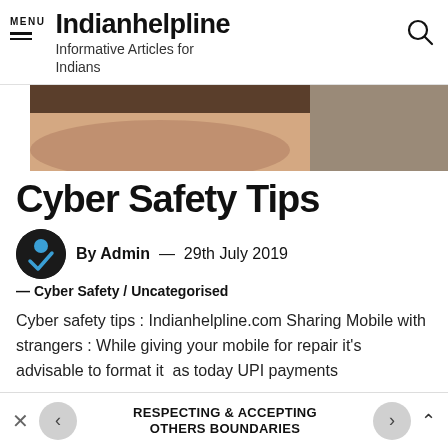Indianhelpline — Informative Articles for Indians
[Figure (photo): Partial photo showing a person's hands/arm, cropped hero image at top of article]
Cyber Safety Tips
By Admin — 29th July 2019
— Cyber Safety / Uncategorised
Cyber safety tips : Indianhelpline.com Sharing Mobile with strangers : While giving your mobile for repair it's advisable to format it  as today UPI payments
RESPECTING & ACCEPTING OTHERS BOUNDARIES